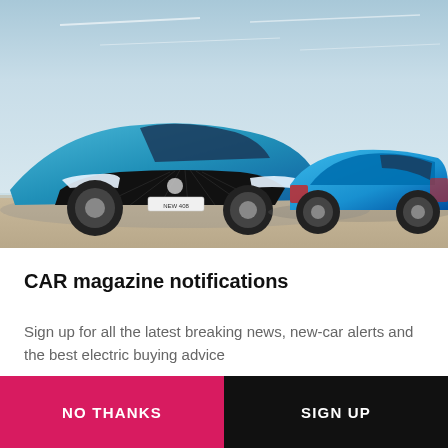[Figure (photo): Two Peugeot electric cars (blue/teal colored) parked side by side on a flat open terrain with a light blue sky background. The left car faces forward showing the front grille, the right car is shown from a rear three-quarter angle.]
CAR magazine notifications
Sign up for all the latest breaking news, new-car alerts and the best electric buying advice
NO THANKS
SIGN UP